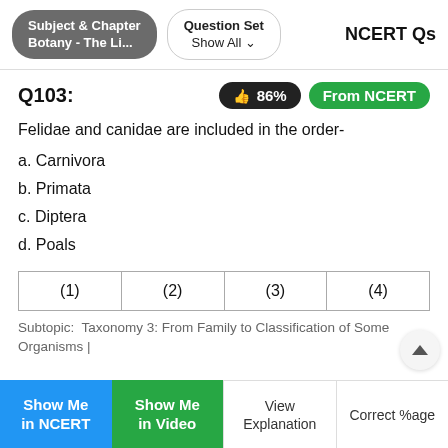Subject & Chapter
Botany - The Li...  |  Question Set Show All  |  NCERT Qs
Q103:
👍 86%  From NCERT
Felidae and canidae are included in the order-
a. Carnivora
b. Primata
c. Diptera
d. Poals
| (1) | (2) | (3) | (4) |
Subtopic:  Taxonomy 3: From Family to Classification of Some Organisms |
Show Me in NCERT | Show Me in Video | View Explanation | Correct %age